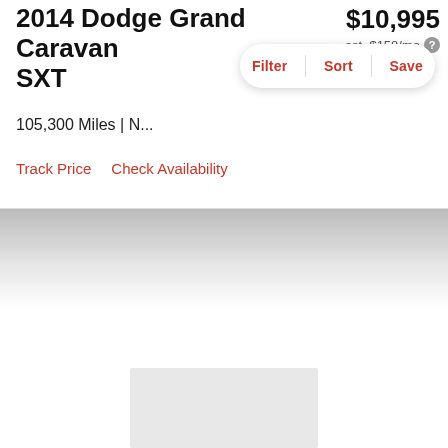2014 Dodge Grand Caravan SXT
$10,995
est. $158/mo
Filter | Sort | Save
105,300 Miles | N...
Track Price   Check Availability
[Figure (other): Gray gradient banner area with heart/favorite icon in top right corner]
[Figure (other): Light gray advertisement or image placeholder box]